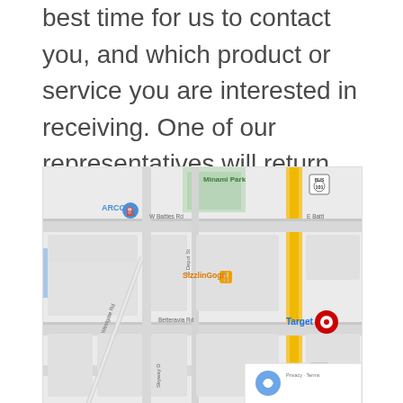best time for us to contact you, and which product or service you are interested in receiving. One of our representatives will return your call as soon as possible.
[Figure (map): Google Maps screenshot showing a neighborhood area with streets including W Battles Rd, Betteravia Rd, Westgate Rd, S Depot St, Skyway D. Points of interest labeled include ARCO (gas station), Minami Park, SizzlinGogi (restaurant), and Target. A yellow highway route 101 BUS runs vertically on the right side. A reCAPTCHA Privacy/Terms widget appears in the bottom-right corner.]